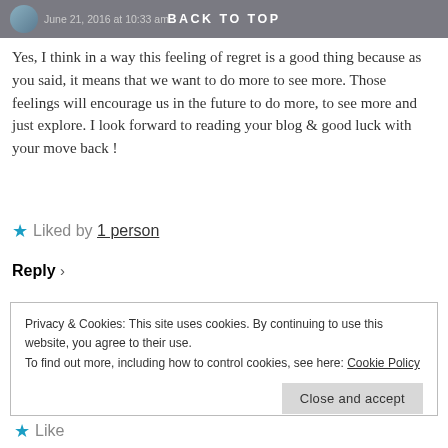BACK TO TOP
Yes, I think in a way this feeling of regret is a good thing because as you said, it means that we want to do more to see more. Those feelings will encourage us in the future to do more, to see more and just explore. I look forward to reading your blog & good luck with your move back !
★ Liked by 1 person
Reply ›
Privacy & Cookies: This site uses cookies. By continuing to use this website, you agree to their use.
To find out more, including how to control cookies, see here: Cookie Policy
Close and accept
★ Like